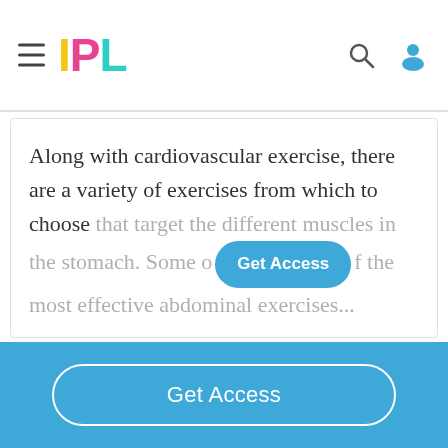IPL
Along with cardiovascular exercise, there are a variety of exercises from which to choose that target the different muscles in the stomach. Some of the most effective abdominal exercises...
Get Access
Get Access